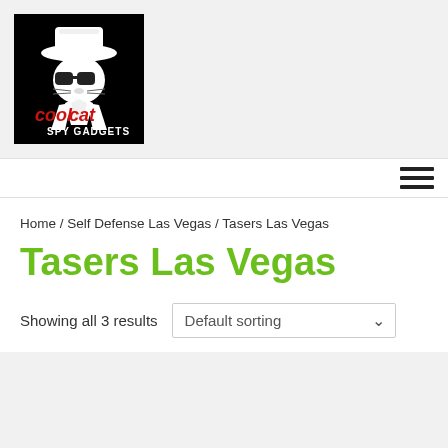[Figure (logo): CoolCat Spy Gadgets logo — black background with illustrated cat wearing hat and sunglasses in white and red, text reads 'CoolCat SPY GADGETS']
Home / Self Defense Las Vegas / Tasers Las Vegas
Tasers Las Vegas
Showing all 3 results
Default sorting